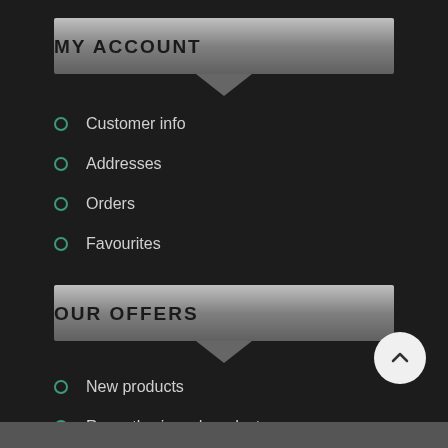MY ACCOUNT
Customer info
Addresses
Orders
Favourites
OUR OFFERS
New products
Recently viewed products
Search